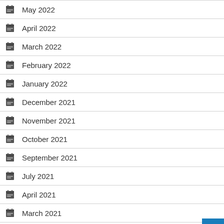May 2022
April 2022
March 2022
February 2022
January 2022
December 2021
November 2021
October 2021
September 2021
July 2021
April 2021
March 2021
January 2021